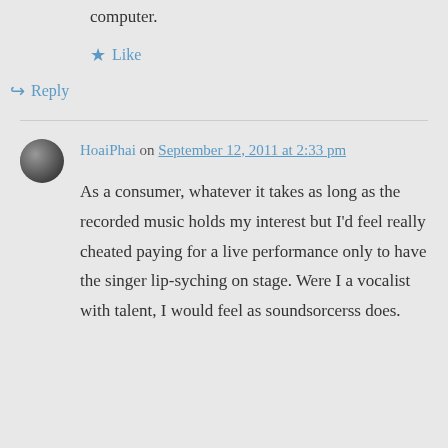computer.
★ Like
↪ Reply
HoaiPhai on September 12, 2011 at 2:33 pm
As a consumer, whatever it takes as long as the recorded music holds my interest but I'd feel really cheated paying for a live performance only to have the singer lip-syching on stage. Were I a vocalist with talent, I would feel as soundsorcerss does.